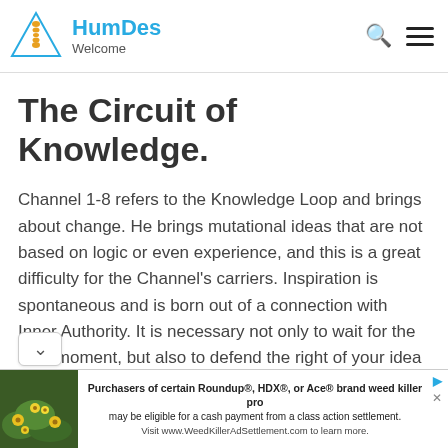HumDes Welcome
The Circuit of Knowledge.
Channel 1-8 refers to the Knowledge Loop and brings about change. He brings mutational ideas that are not based on logic or even experience, and this is a great difficulty for the Channel's carriers. Inspiration is spontaneous and is born out of a connection with Inner Authority. It is necessary not only to wait for the right moment, but also to defend the right of your idea to You may have to make an effort to be heard in a
[Figure (other): Advertisement banner for Roundup weed killer class action settlement with yellow flower image on left]
Purchasers of certain Roundup®, HDX®, or Ace® brand weed killer pro may be eligible for a cash payment from a class action settlement. Visit www.WeedKillerAdSettlement.com to learn more.